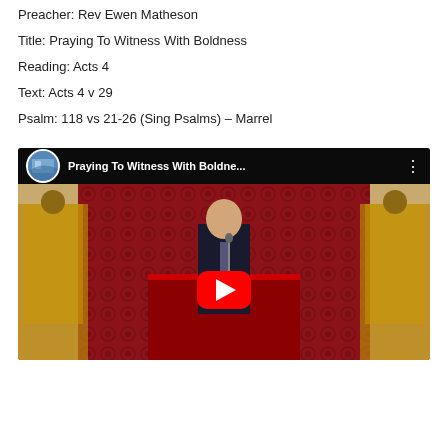Preacher: Rev Ewen Matheson
Title: Praying To Witness With Boldness
Reading: Acts 4
Text: Acts 4 v 29
Psalm: 118 vs 21-26 (Sing Psalms) – Marrel
[Figure (screenshot): YouTube video thumbnail showing a preacher at a pulpit in front of a red ornate backdrop with a red play button overlay. Video title reads 'Praying To Witness With Boldne...' with a church channel icon.]
[Figure (screenshot): Audio player bar showing play button, 00:00 timestamp, progress bar, and end timestamp on dark background with Messenger chat button.]